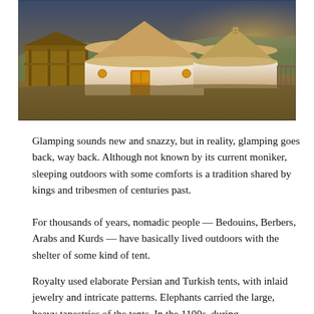[Figure (photo): Photograph of white yurt-style glamping tents in a grassy landscape at golden hour, with wooden structures visible in the background.]
Glamping sounds new and snazzy, but in reality, glamping goes back, way back. Although not known by its current moniker, sleeping outdoors with some comforts is a tradition shared by kings and tribesmen of centuries past.
For thousands of years, nomadic people — Bedouins, Berbers, Arabs and Kurds — have basically lived outdoors with the shelter of some kind of tent.
Royalty used elaborate Persian and Turkish tents, with inlaid jewelry and intricate patterns. Elephants carried the large, heavy tapestries of the tents. In the 1100s, during